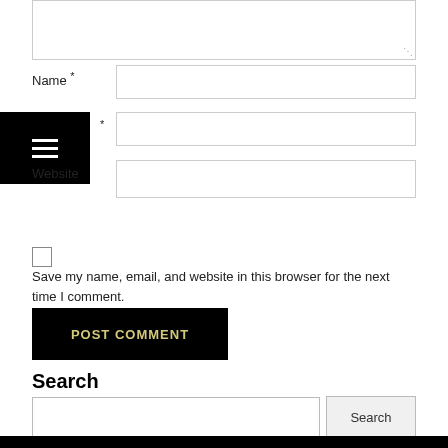[Figure (screenshot): Textarea input box at top of comment form]
Name *
[Figure (screenshot): Name input field]
[Figure (screenshot): Hamburger/menu icon overlay (black square with three white lines)]
*
[Figure (screenshot): Email input field]
Website
[Figure (screenshot): Website input field]
Save my name, email, and website in this browser for the next time I comment.
[Figure (screenshot): POST COMMENT button]
Search
[Figure (screenshot): Search input field with Search button]